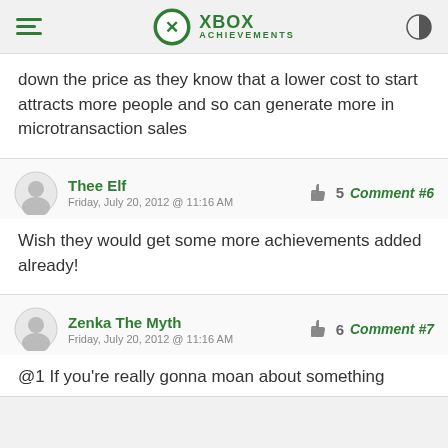XBOX ACHIEVEMENTS
down the price as they know that a lower cost to start attracts more people and so can generate more in microtransaction sales
Thee Elf
Friday, July 20, 2012 @ 11:16 AM
Likes: 5  Comment #6
Wish they would get some more achievements added already!
Zenka The Myth
Friday, July 20, 2012 @ 11:16 AM
Likes: 6  Comment #7
@1 If you're really gonna moan about something